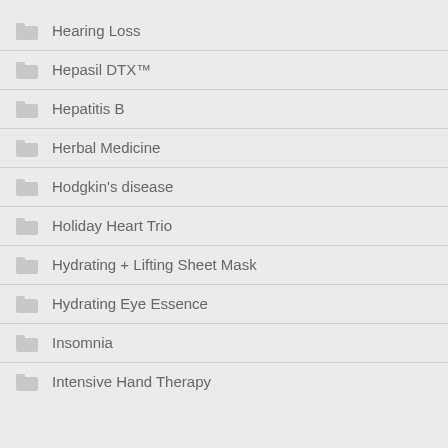Hearing Loss
Hepasil DTX™
Hepatitis B
Herbal Medicine
Hodgkin's disease
Holiday Heart Trio
Hydrating + Lifting Sheet Mask
Hydrating Eye Essence
Insomnia
Intensive Hand Therapy